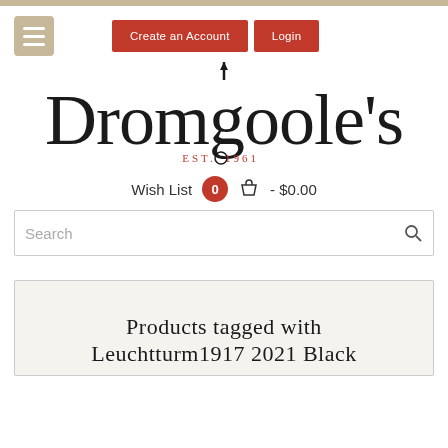Dromgoole's — EST. 1961
Create an Account   Login
[Figure (logo): Dromgoole's logo with EST. 1961 tagline and pen illustration]
Wish List   0   - $0.00
Search
Products tagged with Leuchtturm1917 2021 Black